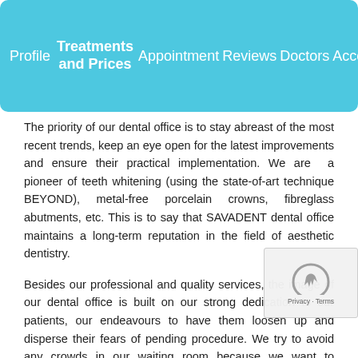Profile | Treatments and Prices | Appointment | Reviews | Doctors | Accommodation
The priority of our dental office is to stay abreast of the most recent trends, keep an eye open for the latest improvements and ensure their practical implementation. We are a pioneer of teeth whitening (using the state-of-art technique BEYOND), metal-free porcelain crowns, fibreglass abutments, etc. This is to say that SAVADENT dental office maintains a long-term reputation in the field of aesthetic dentistry.
Besides our professional and quality services, the image of our dental office is built on our strong dedication to our patients, our endeavours to have them loosen up and disperse their fears of pending procedure. We try to avoid any crowds in our waiting room because we want to properly devote ourselves to each individual person who comes to see us.
Our professional and well – qualified English and Serbian speaking team of oral surgeons and cosmetic dentists offer a wide range of dental treatments from simple tooth filling, tooth whitening, crowns and veneers to implantation and full mouth rehabilitation.